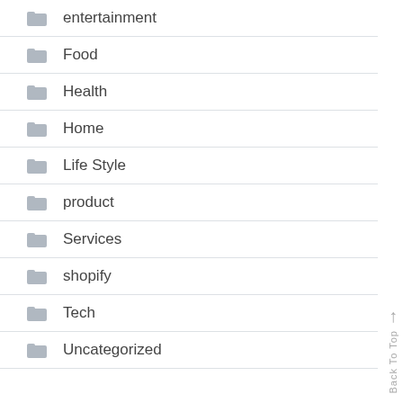entertainment
Food
Health
Home
Life Style
product
Services
shopify
Tech
Uncategorized